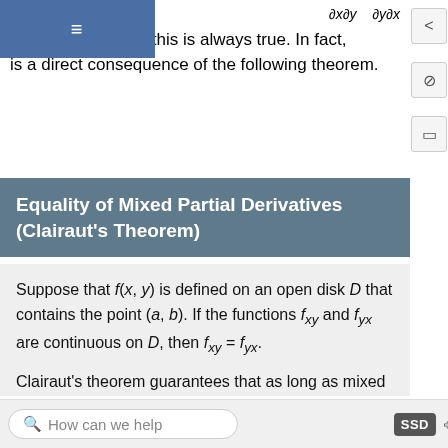certain conditions, this is always true. In fact, is a direct consequence of the following theorem.
Equality of Mixed Partial Derivatives (Clairaut's Theorem)
Suppose that f(x, y) is defined on an open disk D that contains the point (a, b). If the functions f_xy and f_yx are continuous on D, then f_xy = f_yx.
Clairaut's theorem guarantees that as long as mixed second-order derivatives are continuous, the order in which we choose to differentiate the functions (i.e., which variable goes first, then second, and so on) does not matter. It can be extended to higher-order derivatives as well. The
How can we help